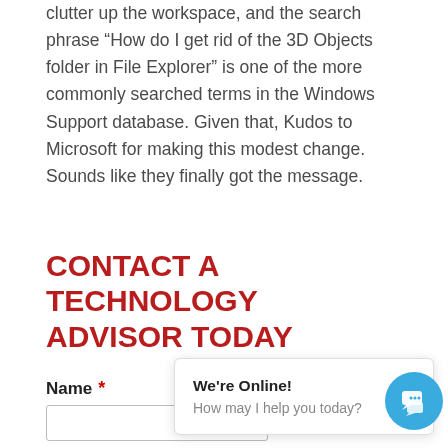clutter up the workspace, and the search phrase “How do I get rid of the 3D Objects folder in File Explorer” is one of the more commonly searched terms in the Windows Support database. Given that, Kudos to Microsoft for making this modest change. Sounds like they finally got the message.
CONTACT A TECHNOLOGY ADVISOR TODAY
Name *
[Figure (other): Live chat popup with message 'We're Online! How may I help you today?' and a blue circular chat button with speech bubble icon]